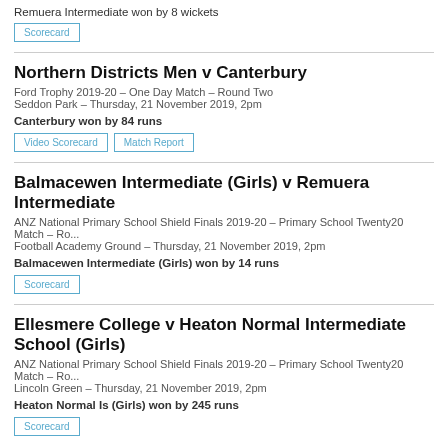Remuera Intermediate won by 8 wickets
Scorecard
Northern Districts Men v Canterbury
Ford Trophy 2019-20 – One Day Match – Round Two
Seddon Park – Thursday, 21 November 2019, 2pm
Canterbury won by 84 runs
Video Scorecard  Match Report
Balmacewen Intermediate (Girls) v Remuera Intermediate
ANZ National Primary School Shield Finals 2019-20 – Primary School Twenty20 Match – Ro...
Football Academy Ground – Thursday, 21 November 2019, 2pm
Balmacewen Intermediate (Girls) won by 14 runs
Scorecard
Ellesmere College v Heaton Normal Intermediate School (Girls)
ANZ National Primary School Shield Finals 2019-20 – Primary School Twenty20 Match – Ro...
Lincoln Green – Thursday, 21 November 2019, 2pm
Heaton Normal Is (Girls) won by 245 runs
Scorecard